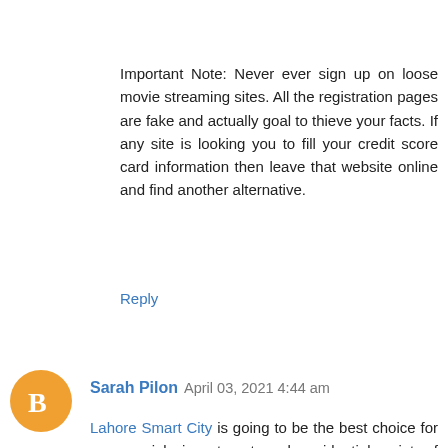Important Note: Never ever sign up on loose movie streaming sites. All the registration pages are fake and actually goal to thieve your facts. If any site is looking you to fill your credit score card information then leave that website online and find another alternative.
Reply
Sarah Pilon  April 03, 2021 4:44 am
Lahore Smart City is going to be the best choice for commercial, investment and residential point of view. The scheme will have everything to attract national and international investors. In return, investors will get high revenue. On the other hand, the housing society is equipped with state of the art facilities. The facilities are just dream of come true for the people of Lahore. Peace, safety and eco-friendly behaviors. Future Development Holding hires and corporate's with world-class developers, architectures and planners. This Smart City Lahore will have golf clubs and fields designed by experienced and